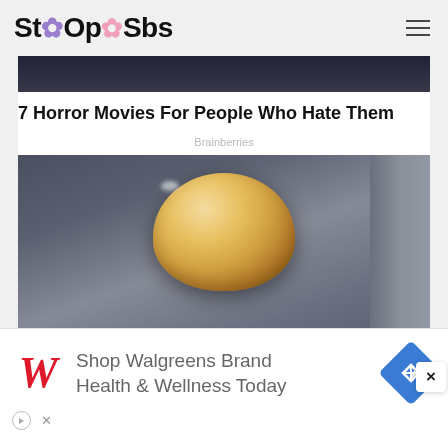StOOpSbs
[Figure (photo): Partial view of a dark image at top of article]
7 Horror Movies For People Who Hate Them
Brainberries
[Figure (photo): A golden translucent egg-shaped object resting on dark blue-grey fabric cloth]
Have A Question About Egg Safety
[Figure (infographic): Walgreens advertisement banner: Shop Walgreens Brand Health & Wellness Today]